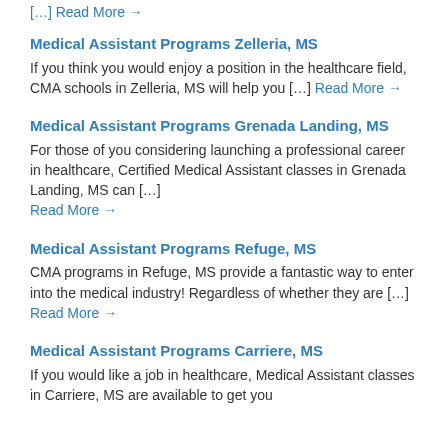[…] Read More →
Medical Assistant Programs Zelleria, MS
If you think you would enjoy a position in the healthcare field, CMA schools in Zelleria, MS will help you […] Read More →
Medical Assistant Programs Grenada Landing, MS
For those of you considering launching a professional career in healthcare, Certified Medical Assistant classes in Grenada Landing, MS can […] Read More →
Medical Assistant Programs Refuge, MS
CMA programs in Refuge, MS provide a fantastic way to enter into the medical industry! Regardless of whether they are […] Read More →
Medical Assistant Programs Carriere, MS
If you would like a job in healthcare, Medical Assistant classes in Carriere, MS are available to get you